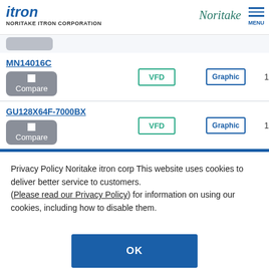itron NORITAKE ITRON CORPORATION — Noritake — MENU
| Product | Type | Display | Resolution |
| --- | --- | --- | --- |
| MN14016C | VFD | Graphic | 140x... |
| GU128X64F-7000BX | VFD | Graphic | 128x... |
Privacy Policy Noritake itron corp This website uses cookies to deliver better service to customers. (Please read our Privacy Policy) for information on using our cookies, including how to disable them.
OK